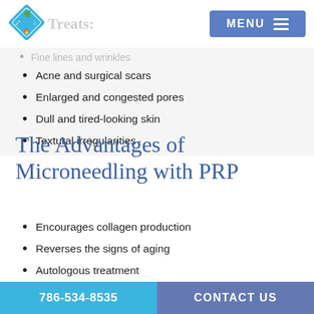[Figure (logo): Blue diamond-shaped logo with icons (leaf, syringe, droplet, flame)]
Treats:
[Figure (other): MENU button with hamburger lines, blue background]
Fine lines and wrinkles
Acne and surgical scars
Enlarged and congested pores
Dull and tired-looking skin
Textural irregularities
The Advantages of Microneedling with PRP
Encourages collagen production
Reverses the signs of aging
Autologous treatment
Non-surgical treatment
786-534-8535     CONTACT US